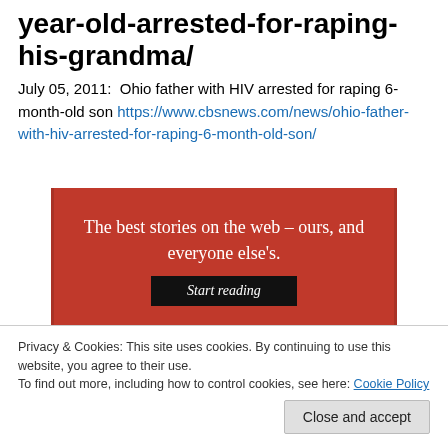year-old-arrested-for-raping-his-grandma/
July 05, 2011:  Ohio father with HIV arrested for raping 6-month-old son https://www.cbsnews.com/news/ohio-father-with-hiv-arrested-for-raping-6-month-old-son/
[Figure (other): Red advertisement banner reading 'The best stories on the web – ours, and everyone else's.' with a black 'Start reading' button]
Privacy & Cookies: This site uses cookies. By continuing to use this website, you agree to their use.
To find out more, including how to control cookies, see here: Cookie Policy
Close and accept